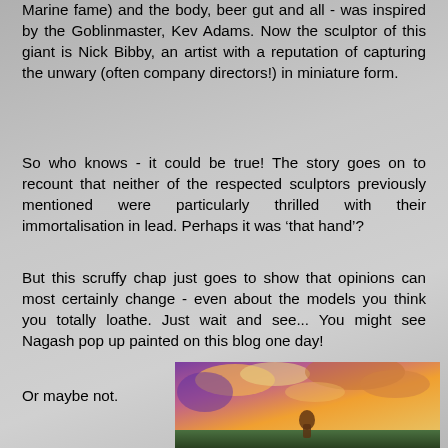Marine fame) and the body, beer gut and all - was inspired by the Goblinmaster, Kev Adams. Now the sculptor of this giant is Nick Bibby, an artist with a reputation of capturing the unwary (often company directors!) in miniature form.
So who knows - it could be true! The story goes on to recount that neither of the respected sculptors previously mentioned were particularly thrilled with their immortalisation in lead. Perhaps it was ‘that hand’?
But this scruffy chap just goes to show that opinions can most certainly change - even about the models you think you totally loathe. Just wait and see... You might see Nagash pop up painted on this blog one day!
Or maybe not.
[Figure (photo): A fantasy artwork showing a figure in a dramatic sunset sky with purple and orange clouds]